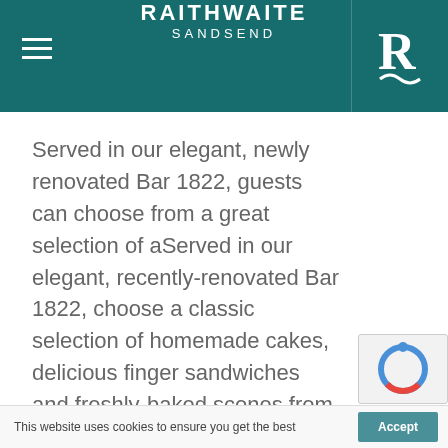RAITHWAITE SANDSEND
Served in our elegant, newly renovated Bar 1822, guests can choose from a great selection of aServed in our elegant, recently-renovated Bar 1822, choose a classic selection of homemade cakes, delicious finger sandwiches and freshly-baked scones from our Afternoon Tea menu, including gluten-free options.
Bar With views of the award-winning Raithwaite Estate gardens
This website uses cookies to ensure you get the best